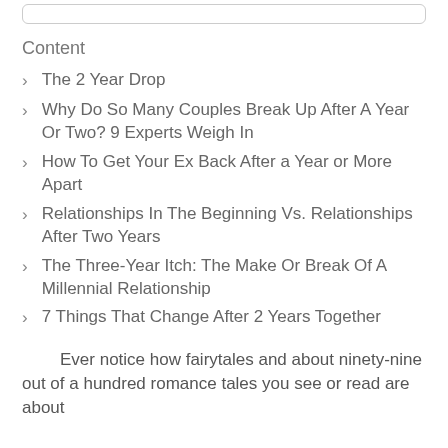Content
The 2 Year Drop
Why Do So Many Couples Break Up After A Year Or Two? 9 Experts Weigh In
How To Get Your Ex Back After a Year or More Apart
Relationships In The Beginning Vs. Relationships After Two Years
The Three-Year Itch: The Make Or Break Of A Millennial Relationship
7 Things That Change After 2 Years Together
Ever notice how fairytales and about ninety-nine out of a hundred romance tales you see or read are about